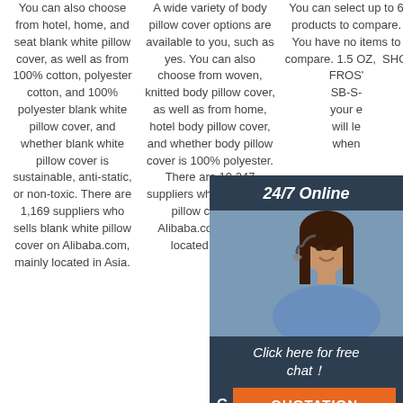You can also choose from hotel, home, and seat blank white pillow cover, as well as from 100% cotton, polyester cotton, and 100% polyester blank white pillow cover, and whether blank white pillow cover is sustainable, anti-static, or non-toxic. There are 1,169 suppliers who sells blank white pillow cover on Alibaba.com, mainly located in Asia.
A wide variety of body pillow cover options are available to you, such as yes. You can also choose from woven, knitted body pillow cover, as well as from home, hotel body pillow cover, and whether body pillow cover is 100% polyester. There are 10,247 suppliers who sells body pillow cover on Alibaba.com, mainly located in Asia.
You can select up to 6 products to compare. You have no items to compare. 1.5 OZ,ショ... FROS'... SB-S-... your e... will le... when...
[Figure (infographic): 24/7 Online chat widget with a customer service representative photo, 'Click here for free chat!' text, and an orange QUOTATION button]
[Figure (logo): Orange and white TOP logo with dot-triangle design above the word TOP]